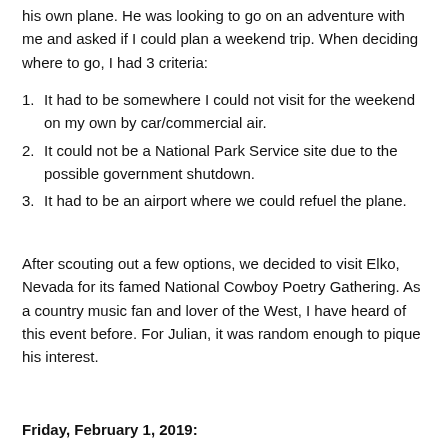his own plane. He was looking to go on an adventure with me and asked if I could plan a weekend trip. When deciding where to go, I had 3 criteria:
It had to be somewhere I could not visit for the weekend on my own by car/commercial air.
It could not be a National Park Service site due to the possible government shutdown.
It had to be an airport where we could refuel the plane.
After scouting out a few options, we decided to visit Elko, Nevada for its famed National Cowboy Poetry Gathering. As a country music fan and lover of the West, I have heard of this event before. For Julian, it was random enough to pique his interest.
Friday, February 1, 2019: